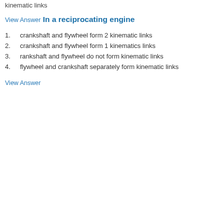kinematic links
View Answer
In a reciprocating engine
crankshaft and flywheel form 2 kinematic links
crankshaft and flywheel form 1 kinematics links
rankshaft and flywheel do not form kinematic links
flywheel and crankshaft separately form kinematic links
View Answer